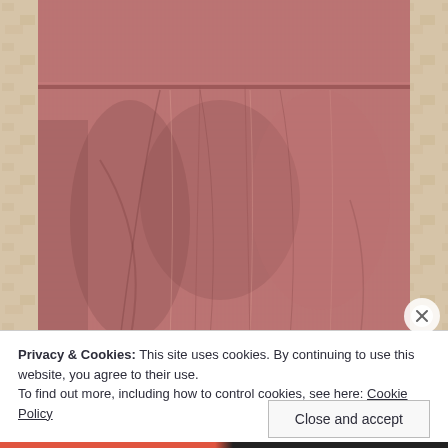[Figure (photo): Photo of a mauve/dusty rose textured fabric skirt laid flat on a stone/concrete surface. The skirt has vertical streaks in a woven textile pattern and shows folds and shadows. The upper portion shows a waistband area.]
Privacy & Cookies: This site uses cookies. By continuing to use this website, you agree to their use.
To find out more, including how to control cookies, see here: Cookie Policy
Close and accept